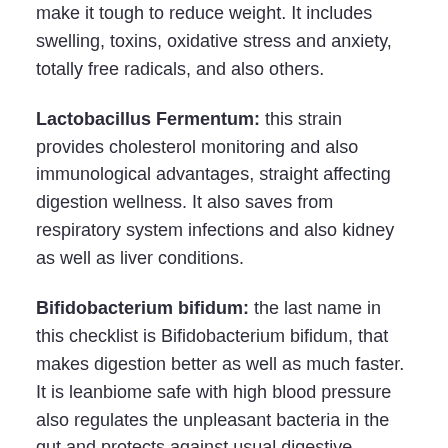make it tough to reduce weight. It includes swelling, toxins, oxidative stress and anxiety, totally free radicals, and also others.
Lactobacillus Fermentum: this strain provides cholesterol monitoring and also immunological advantages, straight affecting digestion wellness. It also saves from respiratory system infections and also kidney as well as liver conditions.
Bifidobacterium bifidum: the last name in this checklist is Bifidobacterium bifidum, that makes digestion better as well as much faster. It is leanbiome safe with high blood pressure also regulates the unpleasant bacteria in the gut and protects against usual digestive problems.